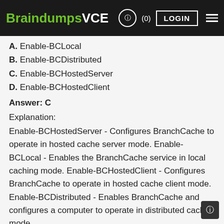BraindumpsVCE (0) LOGIN
A. Enable-BCLocal
B. Enable-BCDistributed
C. Enable-BCHostedServer
D. Enable-BCHostedClient
Answer: C
Explanation:
Enable-BCHostedServer - Configures BranchCache to operate in hosted cache server mode. Enable-BCLocal - Enables the BranchCache service in local caching mode. Enable-BCHostedClient - Configures BranchCache to operate in hosted cache client mode. Enable-BCDistributed - Enables BranchCache and configures a computer to operate in distributed cache mode. http://technet.microsoft.com/en-us/library/hh848423.aspx http://technet.microsoft.com/en-us/library/hh848394.aspx http://technet.microsoft.com/en-us/library/hh848400.aspx http://technet.microsoft.com/en-us/library/hh848398.aspx